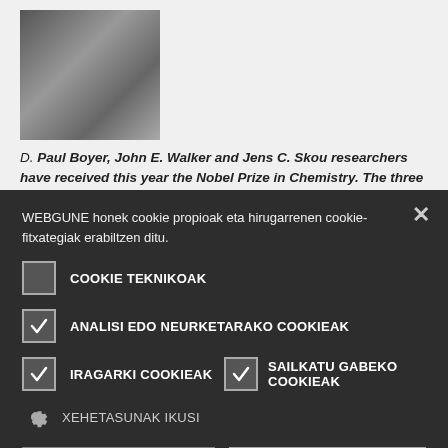[Figure (photo): Black and white portrait photo of a person]
D. Paul Boyer, John E. Walker and Jens C. Skou researchers have received this year the Nobel Prize in Chemistry. The three researchers have analyzed the proteins involved in the
WEBGUNE honek cookie propioak eta hirugarrenen cookie-fitxategiak erabiltzen ditu.
COOKIE TEKNIKOAK
ANALISI EDO NEURKETARAKO COOKIEAK
IRAGARKI COOKIEAK
SAILKATU GABEKO COOKIEAK
XEHETASUNAK IKUSI
ONARTU
UKATU DENA
POWERED BY COOKIE-SCRIPT